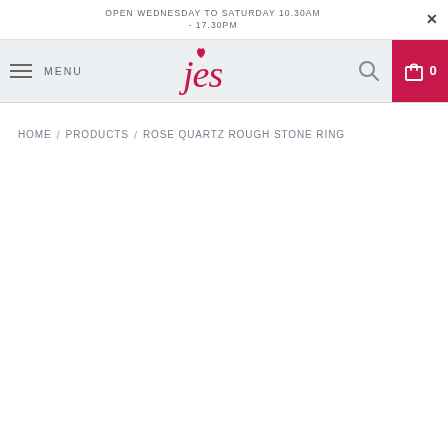OPEN WEDNESDAY TO SATURDAY 10.30AM - 17.30PM
MENU | Jes logo | search | cart 0
HOME / PRODUCTS / ROSE QUARTZ ROUGH STONE RING